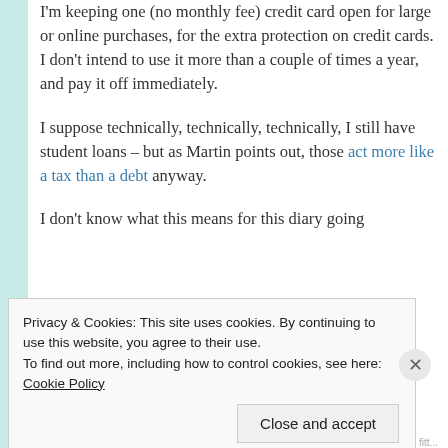I'm keeping one (no monthly fee) credit card open for large or online purchases, for the extra protection on credit cards. I don't intend to use it more than a couple of times a year, and pay it off immediately.
I suppose technically, technically, technically, I still have student loans – but as Martin points out, those act more like a tax than a debt anyway.
I don't know what this means for this diary going
Privacy & Cookies: This site uses cookies. By continuing to use this website, you agree to their use.
To find out more, including how to control cookies, see here: Cookie Policy